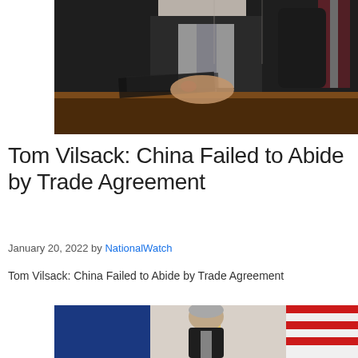[Figure (photo): A man in a dark suit sitting at a wooden desk, handling papers. An American flag is visible in the background.]
Tom Vilsack: China Failed to Abide by Trade Agreement
January 20, 2022 by NationalWatch
Tom Vilsack: China Failed to Abide by Trade Agreement
[Figure (photo): A man with gray hair standing in front of American and other flags, partially visible.]